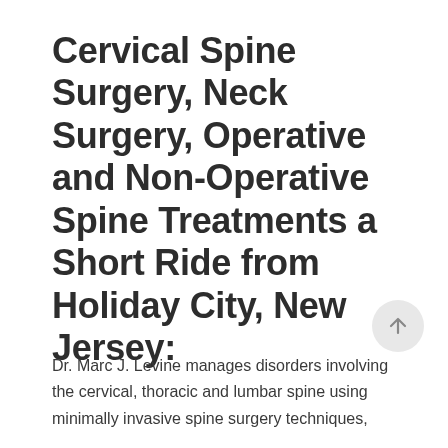Cervical Spine Surgery, Neck Surgery, Operative and Non-Operative Spine Treatments a Short Ride from Holiday City, New Jersey:
Dr. Marc J. Levine manages disorders involving the cervical, thoracic and lumbar spine using minimally invasive spine surgery techniques,